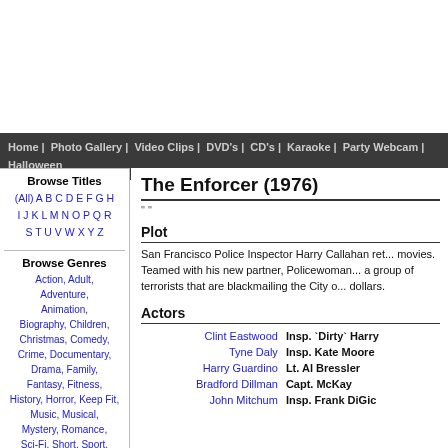Home | Photo Gallery | Video Clips | DVD's | CD's | Karaoke | Party Webcam | Halloween
Browse Titles
(All) A B C D E F G H I J K L M N O P Q R S T U V W X Y Z
Browse Genres
Action, Adult, Adventure, Animation, Biography, Children, Christmas, Comedy, Crime, Documentary, Drama, Family, Fantasy, Fitness, History, Horror, Keep Fit, Music, Musical, Mystery, Romance, Sci-Fi, Short, Sport, Thriller, War, Western
The Enforcer (1976)
" "
Plot
San Francisco Police Inspector Harry Callahan ret... movies. Teamed with his new partner, Policewoman... a group of terrorists that are blackmailing the City o... dollars.
Actors
| Actor | Role |
| --- | --- |
| Clint Eastwood | Insp. `Dirty` Harry... |
| Tyne Daly | Insp. Kate Moore |
| Harry Guardino | Lt. Al Bressler |
| Bradford Dillman | Capt. McKay |
| John Mitchum | Insp. Frank DiGic... |